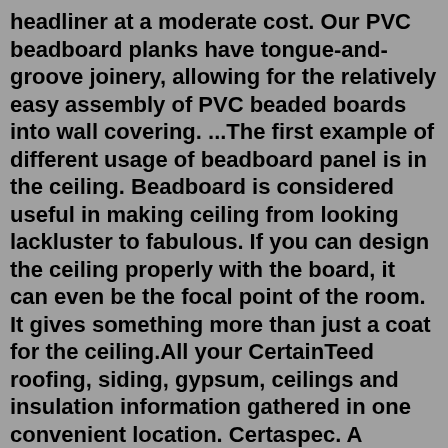headliner at a moderate cost. Our PVC beadboard planks have tongue-and-groove joinery, allowing for the relatively easy assembly of PVC beaded boards into wall covering. ...The first example of different usage of beadboard panel is in the ceiling. Beadboard is considered useful in making ceiling from looking lackluster to fabulous. If you can design the ceiling properly with the board, it can even be the focal point of the room. It gives something more than just a coat for the ceiling.All your CertainTeed roofing, siding, gypsum, ceilings and insulation information gathered in one convenient location. Certaspec. A comprehensive roofing specification writing tool allowing users to quickly write accurate steep- and low-slope roofing specifications for job submittal packages. Insulation iToolsSearch: Vinyl Porch Ceiling. 3 acre lot , you will be greeted by Simple plywood porch ceilings are common, but it's possible to add a touch of charm with styles such as beadboard and tongue and groove 89 / sq ft Porch Ceiling & Soffit. Or, create a mix of that and...